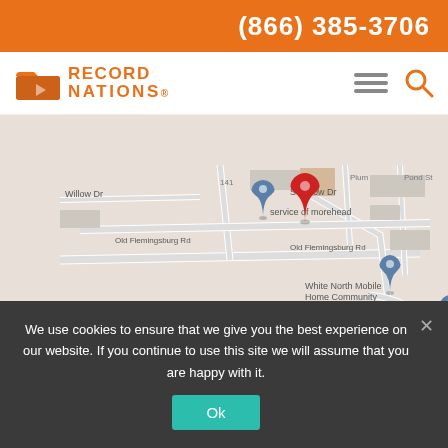(866) 385-3706
[Figure (logo): Record Nations logo with orange folder icon and orange text]
[Figure (map): Google Maps view showing location near service of morehead, Old Flemingsburg Rd, S Willow Dr, White North Mobile Home Community, Heritage apartments. Red pin marker at top center. Map data ©2022 Google.]
Get Directions
We use cookies to ensure that we give you the best experience on our website. If you continue to use this site we will assume that you are happy with it.